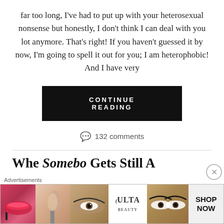far too long, I've had to put up with your heterosexual nonsense but honestly, I don't think I can deal with you lot anymore. That's right! If you haven't guessed it by now, I'm going to spell it out for you; I am heterophobic! And I have very
CONTINUE READING
132 comments
Whe Somebo Gets Still A
Advertisements